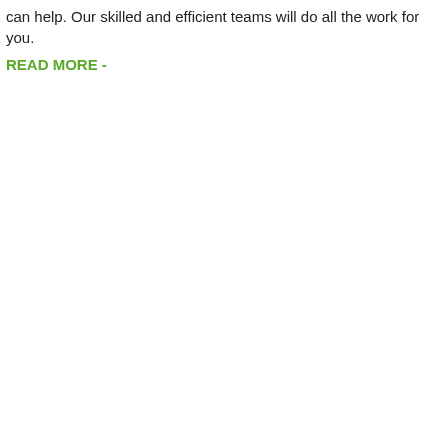can help. Our skilled and efficient teams will do all the work for you.
READ MORE -